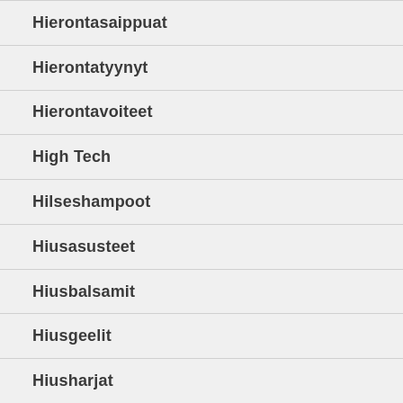Hierontasaippuat
Hierontatyynyt
Hierontavoiteet
High Tech
Hilseshampoot
Hiusasusteet
Hiusbalsamit
Hiusgeelit
Hiusharjat